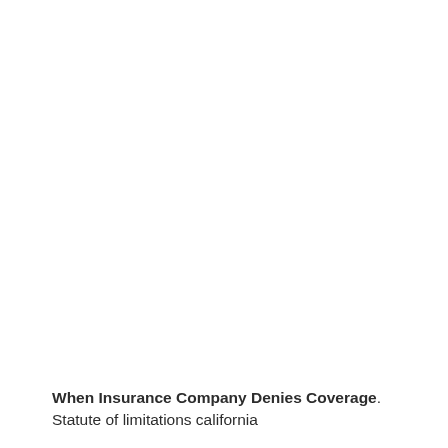When Insurance Company Denies Coverage. Statute of limitations california insurance coverage denies